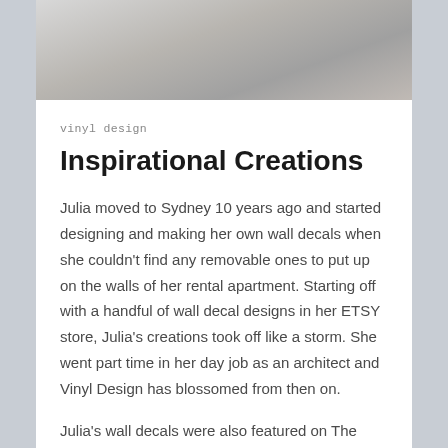[Figure (photo): Partial photo of a person at the top of the page, cropped]
vinyl design
Inspirational Creations
Julia moved to Sydney 10 years ago and started designing and making her own wall decals when she couldn't find any removable ones to put up on the walls of her rental apartment. Starting off with a handful of wall decal designs in her ETSY store, Julia's creations took off like a storm. She went part time in her day job as an architect and Vinyl Design has blossomed from then on.
Julia's wall decals were also featured on The Renovators, an Australian reality renovation TV